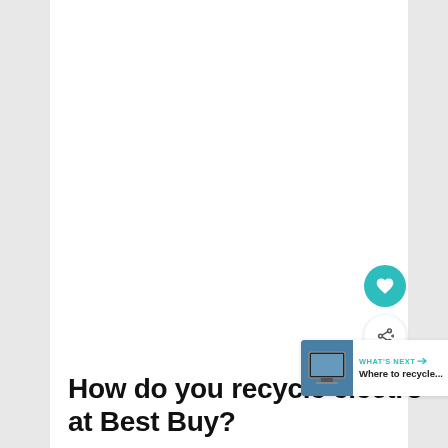[Figure (screenshot): White blank content area at top of web article page]
How do you recycle electronics at Best Buy?